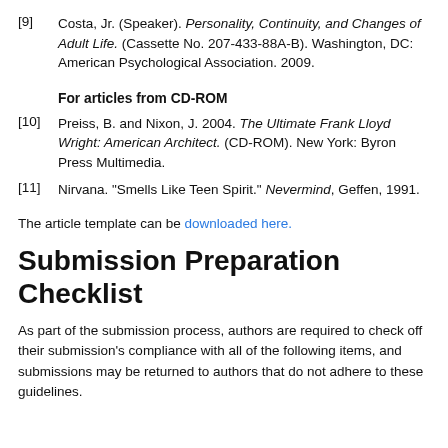[9] Costa, Jr. (Speaker). Personality, Continuity, and Changes of Adult Life. (Cassette No. 207-433-88A-B). Washington, DC: American Psychological Association. 2009.
For articles from CD-ROM
[10] Preiss, B. and Nixon, J. 2004. The Ultimate Frank Lloyd Wright: American Architect. (CD-ROM). New York: Byron Press Multimedia.
[11] Nirvana. "Smells Like Teen Spirit." Nevermind, Geffen, 1991.
The article template can be downloaded here.
Submission Preparation Checklist
As part of the submission process, authors are required to check off their submission's compliance with all of the following items, and submissions may be returned to authors that do not adhere to these guidelines.